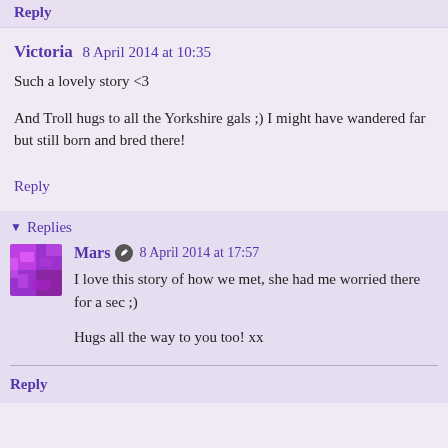Reply
Victoria  8 April 2014 at 10:35
Such a lovely story <3

And Troll hugs to all the Yorkshire gals ;) I might have wandered far but still born and bred there!
Reply
▾ Replies
Mars  8 April 2014 at 17:57
I love this story of how we met, she had me worried there for a sec ;)

Hugs all the way to you too! xx
Reply